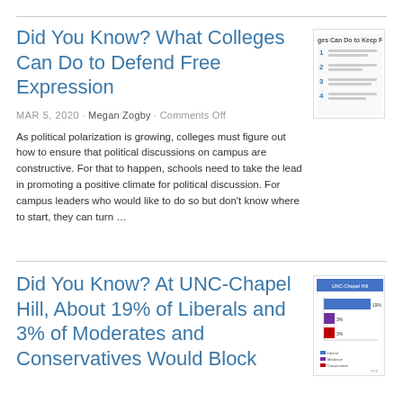Did You Know? What Colleges Can Do to Defend Free Expression
MAR 5, 2020 · Megan Zogby · Comments Off
As political polarization is growing, colleges must figure out how to ensure that political discussions on campus are constructive. For that to happen, schools need to take the lead in promoting a positive climate for political discussion. For campus leaders who would like to do so but don't know where to start, they can turn …
[Figure (other): Thumbnail image showing a numbered list about what colleges can do to keep free speech]
Did You Know? At UNC-Chapel Hill, About 19% of Liberals and 3% of Moderates and Conservatives Would Block
[Figure (bar-chart): Thumbnail bar chart showing percentages of liberals, moderates, and conservatives who would block speakers]